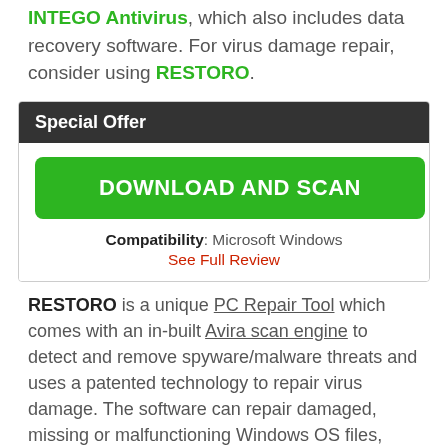INTEGO Antivirus, which also includes data recovery software. For virus damage repair, consider using RESTORO.
Special Offer
DOWNLOAD AND SCAN
Compatibility: Microsoft Windows
See Full Review
RESTORO is a unique PC Repair Tool which comes with an in-built Avira scan engine to detect and remove spyware/malware threats and uses a patented technology to repair virus damage. The software can repair damaged, missing or malfunctioning Windows OS files, corrupted DLLs, and more. The free version offers a scan that detects issues. To fix them, license key for the full software version must be purchased.